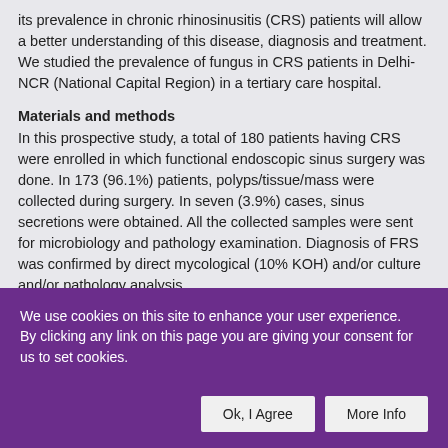its prevalence in chronic rhinosinusitis (CRS) patients will allow a better understanding of this disease, diagnosis and treatment. We studied the prevalence of fungus in CRS patients in Delhi-NCR (National Capital Region) in a tertiary care hospital.
Materials and methods
In this prospective study, a total of 180 patients having CRS were enrolled in which functional endoscopic sinus surgery was done. In 173 (96.1%) patients, polyps/tissue/mass were collected during surgery. In seven (3.9%) cases, sinus secretions were obtained. All the collected samples were sent for microbiology and pathology examination. Diagnosis of FRS was confirmed by direct mycological (10% KOH) and/or culture and/or pathology analysis.
We use cookies on this site to enhance your user experience. By clicking any link on this page you are giving your consent for us to set cookies.